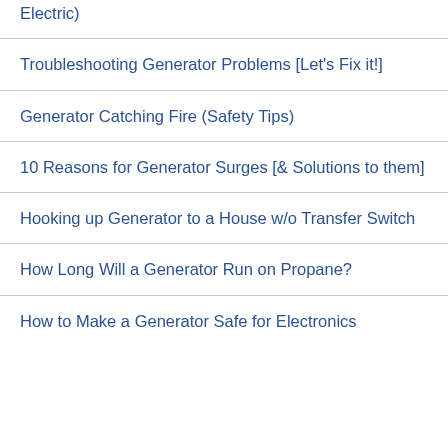Electric)
Troubleshooting Generator Problems [Let's Fix it!]
Generator Catching Fire (Safety Tips)
10 Reasons for Generator Surges [& Solutions to them]
Hooking up Generator to a House w/o Transfer Switch
How Long Will a Generator Run on Propane?
How to Make a Generator Safe for Electronics